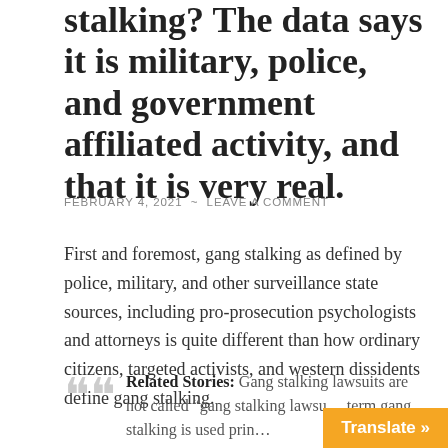stalking? The data says it is military, police, and government affiliated activity, and that it is very real.
FEBRUARY 4, 2021 ~ LEAVE A COMMENT
First and foremost, gang stalking as defined by police, military, and other surveillance state sources, including pro-prosecution psychologists and attorneys is quite different than how ordinary citizens, targeted activists, and western dissidents define gang stalking.
Related Stories: Gang stalking lawsuits are not called "gang stalking lawsu... term gang stalking is used prin...